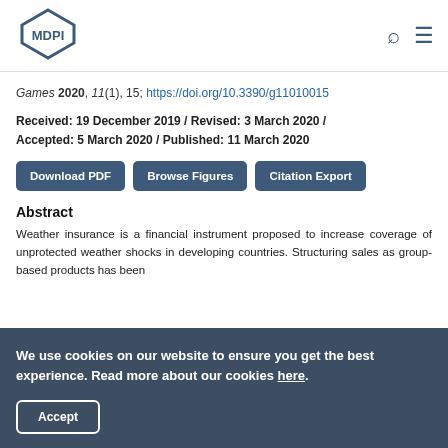MDPI
Games 2020, 11(1), 15; https://doi.org/10.3390/g11010015
Received: 19 December 2019 / Revised: 3 March 2020 / Accepted: 5 March 2020 / Published: 11 March 2020
Download PDF | Browse Figures | Citation Export
Abstract
Weather insurance is a financial instrument proposed to increase coverage of unprotected weather shocks in developing countries. Structuring sales as group-based products has been
We use cookies on our website to ensure you get the best experience. Read more about our cookies here.
Accept